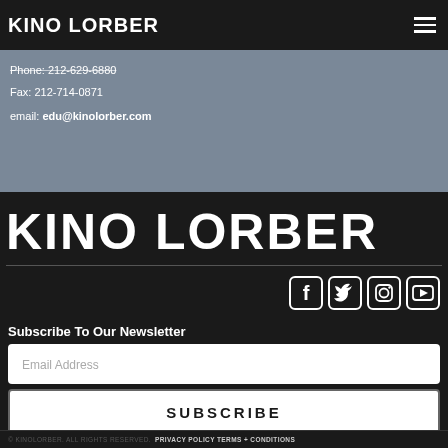KINO LORBER
For assistance with educational orders, please contact us at:
Phone: 212-629-6880
Fax: 212-714-0871
email: edu@kinolorber.com
[Figure (logo): Kino Lorber large white text logo on dark background]
[Figure (infographic): Social media icons row: Facebook, Twitter, Instagram, YouTube]
Subscribe To Our Newsletter
Email Address
SUBSCRIBE
© KINOLORBER. ALL RIGHTS RESERVED. PRIVACY POLICY TERMS + CONDITIONS